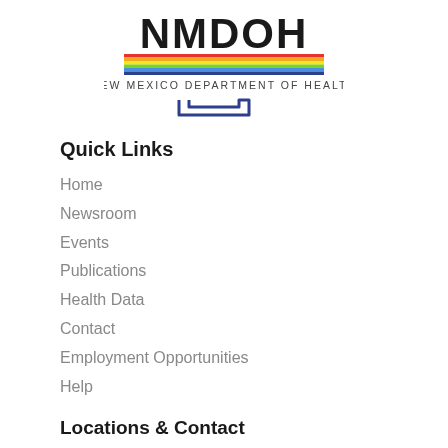[Figure (logo): NMDOH - New Mexico Department of Health logo with colorful underline and NM state shape outline below]
Quick Links
Home
Newsroom
Events
Publications
Health Data
Contact
Employment Opportunities
Help
Locations & Contact
Public Health Offices
Administrative Offices
Treatment and Long Term Care Facilities
Crisis Treatment